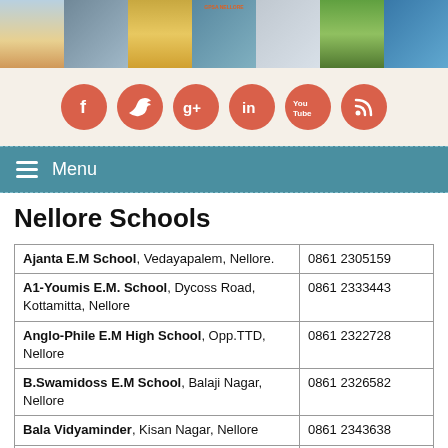[Figure (photo): Header strip with multiple images: flamingos, industrial scene, grain/rice field, GPSA Nellore map, building, green rice fields, water with equipment]
[Figure (infographic): Social media icons row: Facebook, Twitter, Google+, LinkedIn, YouTube, RSS feed — all in coral/red circular buttons]
Menu
Nellore Schools
| School Name & Address | Phone |
| --- | --- |
| Ajanta E.M School, Vedayapalem, Nellore. | 0861 2305159 |
| A1-Youmis E.M. School, Dycoss Road, Kottamitta, Nellore | 0861 2333443 |
| Anglo-Phile E.M High School, Opp.TTD, Nellore | 0861 2322728 |
| B.Swamidoss E.M School, Balaji Nagar, Nellore | 0861 2326582 |
| Bala Vidyaminder, Kisan Nagar, Nellore | 0861 2343638 |
| Balananda E.M School, Rajagari Street, Nellore-3 |  |
| Bells E.M.School, Dargamitta, Nellore | 9347110028 |